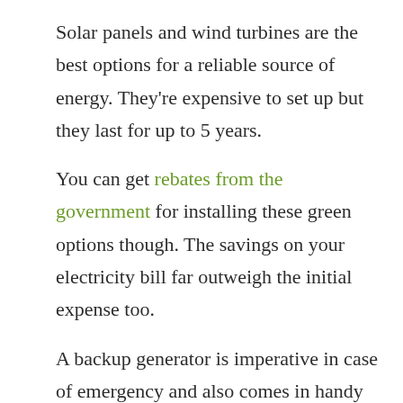Solar panels and wind turbines are the best options for a reliable source of energy. They're expensive to set up but they last for up to 5 years.
You can get rebates from the government for installing these green options though. The savings on your electricity bill far outweigh the initial expense too.
A backup generator is imperative in case of emergency and also comes in handy to run tools and other electrical implements.
A small portable generator, like these ones from Genset, is a good option